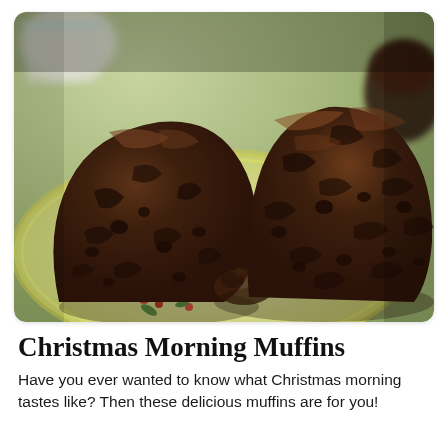[Figure (photo): Close-up photograph of two chocolate muffins broken open, showing the moist dark chocolate interior with chocolate chips, resting on a colorful floral plate with a yellow rim. A coffee mug and another muffin are visible in the blurred background.]
Christmas Morning Muffins
Have you ever wanted to know what Christmas morning tastes like? Then these delicious muffins are for you!